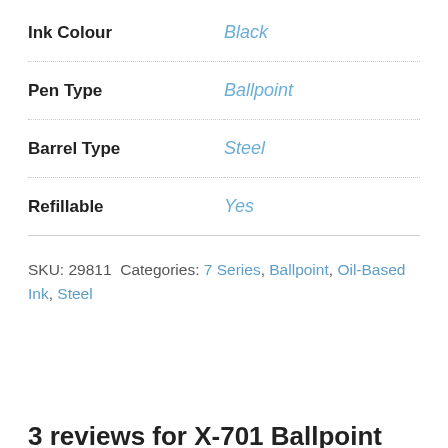| Attribute | Value |
| --- | --- |
| Ink Colour | Black |
| Pen Type | Ballpoint |
| Barrel Type | Steel |
| Refillable | Yes |
SKU: 29811 Categories: 7 Series, Ballpoint, Oil-Based Ink, Steel
3 reviews for X-701 Ballpoint